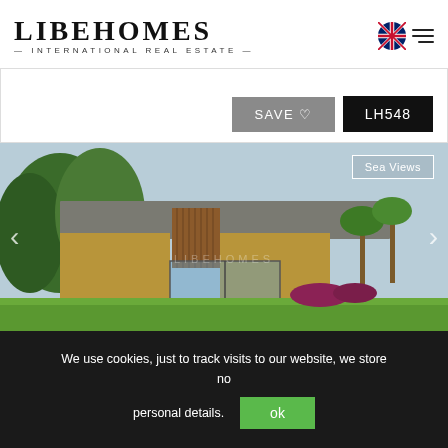[Figure (logo): LibeHomes International Real Estate logo with serif text and UK flag navigation]
[Figure (photo): Modern villa with concrete and stone construction, pool visible, trees in background, 'Sea Views' label overlay]
We use cookies, just to track visits to our website, we store no personal details.
ok